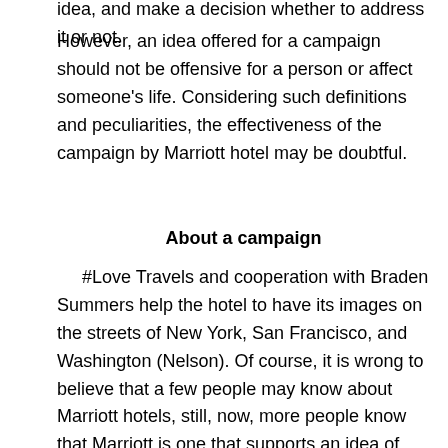idea, and make a decision whether to address it or not.
However, an idea offered for a campaign should not be offensive for a person or affect someone's life. Considering such definitions and peculiarities, the effectiveness of the campaign by Marriott hotel may be doubtful.
About a campaign
#Love Travels and cooperation with Braden Summers help the hotel to have its images on the streets of New York, San Francisco, and Washington (Nelson). Of course, it is wrong to believe that a few people may know about Marriott hotels, still, now, more people know that Marriott is one that supports an idea of same-sex relations. The hotel encourages its guests and travelers to share their emotions, experiences, and stories about how it is to be in a relation with a person of the same sex. It should not be another kind of incommodity to overcome or a challenge to survive. A visit to a hotel should be a chance to tell a story and help other people to understand the life of gays and